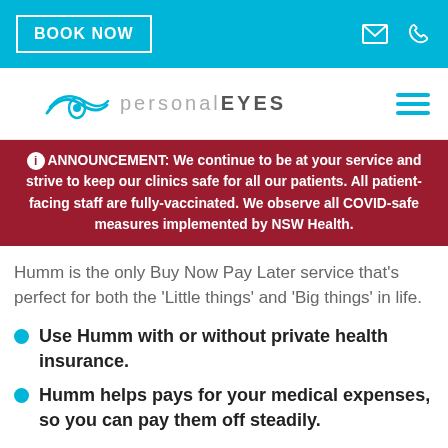BOOK NOW
[Figure (logo): personalEYES logo with eye graphic and hamburger menu]
ANNOUNCEMENT: We continue to be at your service and strive to keep our clinics safe for all our patients. All patient-facing staff are fully-vaccinated. We observe all COVID-safe measures implemented by NSW Health.
Humm is the only Buy Now Pay Later service that's perfect for both the 'Little things' and 'Big things' in life.
Use Humm with or without private health insurance.
Humm helps pays for your medical expenses, so you can pay them off steadily.
Never worry about an out of pocket